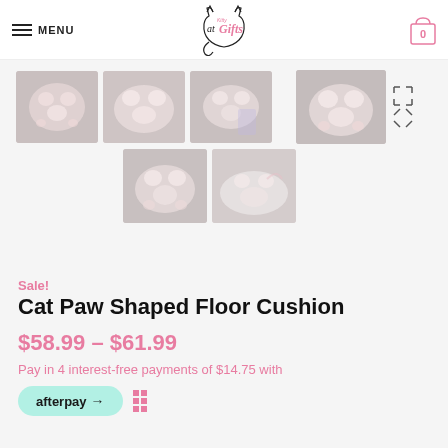MENU | Kitty at Gifts | 0
[Figure (photo): Gallery of 6 product thumbnail images showing a cat paw shaped floor cushion in various settings, pink/white fluffy cushion on chairs and being held.]
Sale!
Cat Paw Shaped Floor Cushion
$58.99 – $61.99
Pay in 4 interest-free payments of $14.75 with
[Figure (logo): Afterpay logo button (green rounded pill) and info icon]